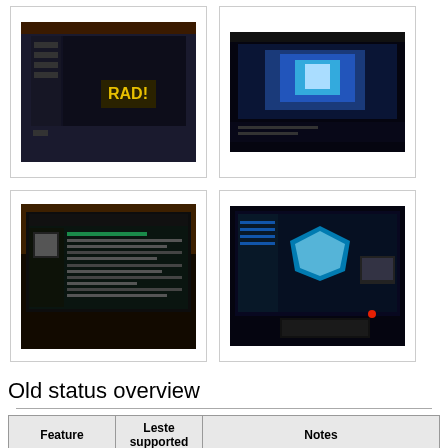[Figure (screenshot): Screenshot of a media player or gaming interface with dark UI and a yellow 'RAD!' graphic]
[Figure (screenshot): Screenshot of a game or media interface displayed on a monitor with blue lighting]
[Figure (photo): Photo of a computer screen showing a dark chat or forum interface]
[Figure (photo): Photo of a monitor and hardware setup with a glowing blue crystal/gem on screen and a red laser pointer]
Old status overview
| Feature | Leste supported | Notes |
| --- | --- | --- |
|  |  | Mainline + some patches not yet in |